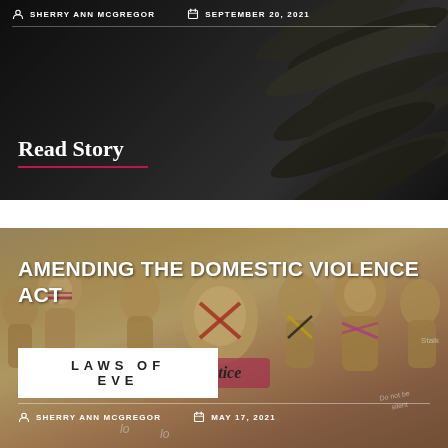[Figure (photo): Dark background image showing rolled banknotes or newspapers stacked together, with dark overlay]
SHERRY ANN MCGREGOR
SEPTEMBER 20, 2021
Read Story
[Figure (photo): Photo of multiple mannequins wrapped in pink and yellow protest/advocacy wrappings with words like 'justice', 'Do not be silent' visible]
AMENDING THE DOMESTIC VIOLENCE ACT
LAWS OF EVE
SHERRY ANN MCGREGOR
MAY 17, 2021